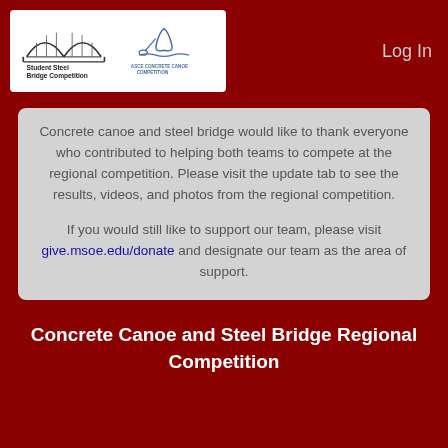[Figure (logo): Student Steel Bridge Competition and ASCE Concrete Canoe Competition logos on white background]
Log In
Concrete canoe and steel bridge would like to thank everyone who contributed to helping both teams to compete at the regional competition. Please visit the update tab to see the results, videos, and photos from the regional competition.

If you would still like to support our team, please visit give.msoe.edu/donate and designate our team as the area of support.
Concrete Canoe and Steel Bridge Regional Competition